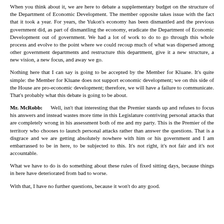When you think about it, we are here to debate a supplementary budget on the structure of the Department of Economic Development. The member opposite takes issue with the fact that it took a year. For years, the Yukon's economy has been dismantled and the previous government did, as part of dismantling the economy, eradicate the Department of Economic Development out of government. We had a lot of work to do to go through this whole process and evolve to the point where we could recoup much of what was dispersed among other government departments and restructure this department, give it a new structure, a new vision, a new focus, and away we go.
Nothing here that I can say is going to be accepted by the Member for Kluane. It's quite simple: the Member for Kluane does not support economic development; we on this side of the House are pro-economic development; therefore, we will have a failure to communicate. That's probably what this debate is going to be about.
Mr. McRobb: Well, isn't that interesting that the Premier stands up and refuses to focus his answers and instead wastes more time in this Legislature contriving personal attacks that are completely wrong in his assessment both of me and my party. This is the Premier of the territory who chooses to launch personal attacks rather than answer the questions. That is a disgrace and we are getting absolutely nowhere with him or his government and I am embarrassed to be in here, to be subjected to this. It's not right, it's not fair and it's not accountable.
What we have to do is do something about these rules of fixed sitting days, because things in here have deteriorated from bad to worse.
With that, I have no further questions, because it won't do any good.